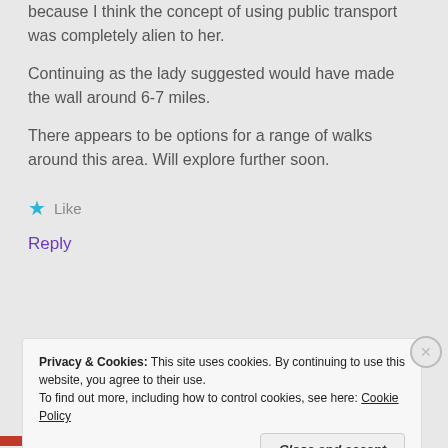that we could arrange a pick-up by another car, mainly because I think the concept of using public transport was completely alien to her. Continuing as the lady suggested would have made the wall around 6-7 miles. There appears to be options for a range of walks around this area. Will explore further soon.
★ Like
Reply
Privacy & Cookies: This site uses cookies. By continuing to use this website, you agree to their use. To find out more, including how to control cookies, see here: Cookie Policy
Close and accept